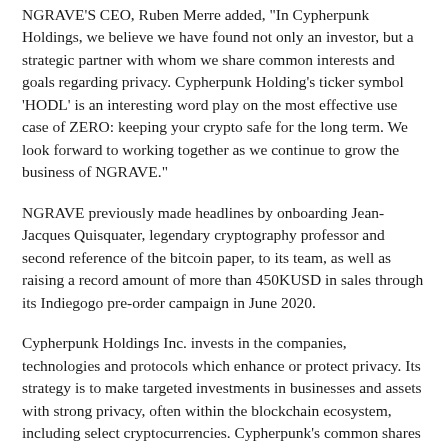NGRAVE'S CEO, Ruben Merre added, "In Cypherpunk Holdings, we believe we have found not only an investor, but a strategic partner with whom we share common interests and goals regarding privacy. Cypherpunk Holding's ticker symbol 'HODL' is an interesting word play on the most effective use case of ZERO: keeping your crypto safe for the long term. We look forward to working together as we continue to grow the business of NGRAVE."
NGRAVE previously made headlines by onboarding Jean-Jacques Quisquater, legendary cryptography professor and second reference of the bitcoin paper, to its team, as well as raising a record amount of more than 450KUSD in sales through its Indiegogo pre-order campaign in June 2020.
Cypherpunk Holdings Inc. invests in the companies, technologies and protocols which enhance or protect privacy. Its strategy is to make targeted investments in businesses and assets with strong privacy, often within the blockchain ecosystem, including select cryptocurrencies. Cypherpunk's common shares trade on the Canadian Securities Exchange under the symbol(CSE: HODL). For further information on NGRAVE, please contact investors@...